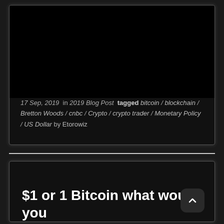[Figure (screenshot): Black image/video thumbnail area at top of card]
17 Sep, 2019  in 2019 Blog Post  tagged bitcoin / blockchain / Bretton Woods / cnbc / Crypto / crypto trader / Monetary Policy / US Dollar by Etorowiz
$1 or 1 Bitcoin what would you choose?